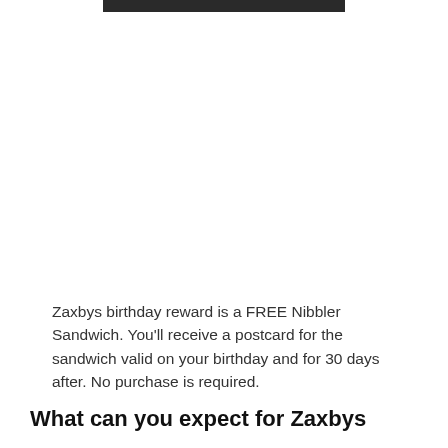[Figure (photo): Partial photo visible at top of page, cropped, showing a dark food-related image]
Zaxbys birthday reward is a FREE Nibbler Sandwich. You'll receive a postcard for the sandwich valid on your birthday and for 30 days after. No purchase is required.
What can you expect for Zaxbys